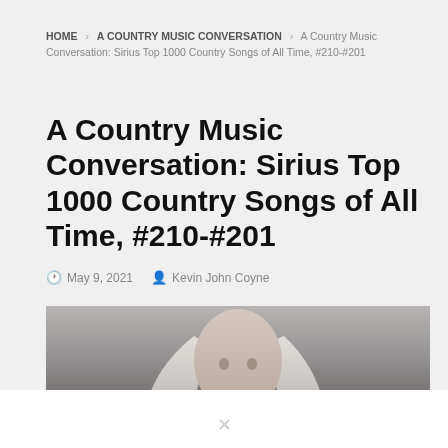HOME > A COUNTRY MUSIC CONVERSATION > A Country Music Conversation: Sirius Top 1000 Country Songs of All Time, #210-#201
A Country Music Conversation: Sirius Top 1000 Country Songs of All Time, #210-#201
May 9, 2021  Kevin John Coyne
[Figure (photo): Black and white photo of a woman with long blonde hair]